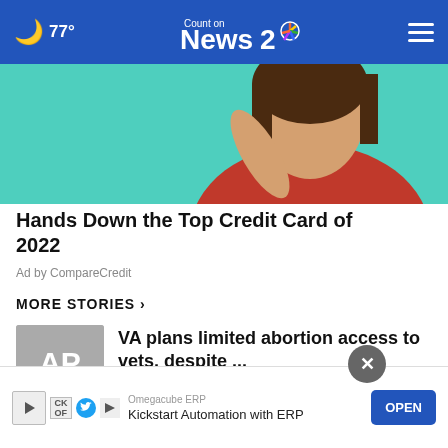🌙 77° | Count on News 2 NBC
[Figure (photo): Woman in red top against teal background (advertisement image for CompareCredit)]
Hands Down the Top Credit Card of 2022
Ad by CompareCredit
MORE STORIES ›
[Figure (logo): AP (Associated Press) logo — grey square with AP text and red bar at bottom]
VA plans limited abortion access to vets, despite ...
[Figure (photo): Thumbnail with TV/monitor icon overlay — blue sky]
Police arrest 5 for traffic incident on Ravenel Bridge
[Figure (photo): Thumbnail with play button overlay — news footage]
West Ashley neighborhood
Omegacube ERP
Kickstart Automation with ERP
OPEN